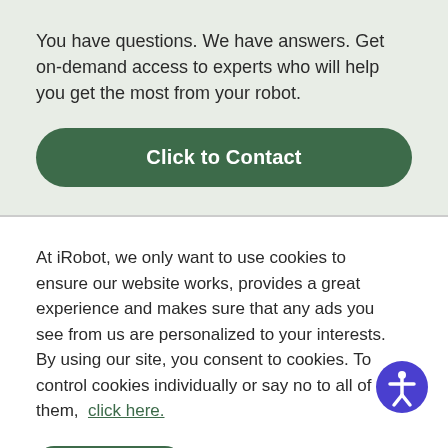You have questions. We have answers. Get on-demand access to experts who will help you get the most from your robot.
Click to Contact
At iRobot, we only want to use cookies to ensure our website works, provides a great experience and makes sure that any ads you see from us are personalized to your interests. By using our site, you consent to cookies. To control cookies individually or say no to all of them,  click here.
Accept
Privacy Policy